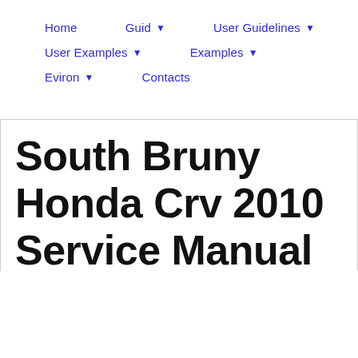Home   Guid ▾   User Guidelines ▾   User Examples ▾   Examples ▾   Eviron ▾   Contacts
South Bruny Honda Crv 2010 Service Manual